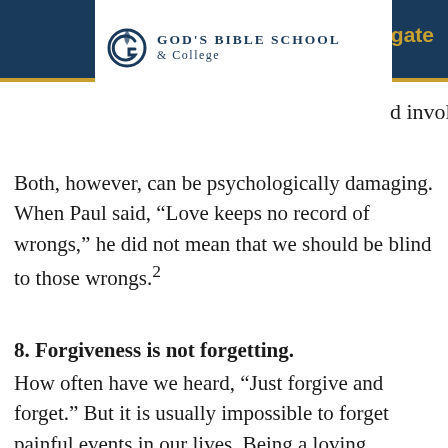God's Bible School & College — Navigate
nd involuntary.
Both, however, can be psychologically damaging. When Paul said, “Love keeps no record of wrongs,” he did not mean that we should be blind to those wrongs.²
8. Forgiveness is not forgetting.
How often have we heard, “Just forgive and forget.” But it is usually impossible to forget painful events in our lives. Being a loving, forgiving person does not erase our memories. Many people would love to be able to “forget,” but are not able to do so.